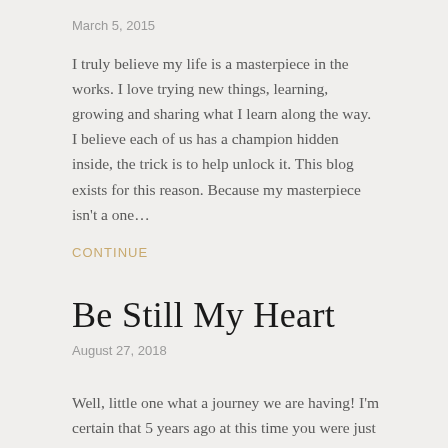March 5, 2015
I truly believe my life is a masterpiece in the works. I love trying new things, learning, growing and sharing what I learn along the way. I believe each of us has a champion hidden inside, the trick is to help unlock it. This blog exists for this reason. Because my masterpiece isn’t a one…
CONTINUE
Be Still My Heart
August 27, 2018
Well, little one what a journey we are having! I’m certain that 5 years ago at this time you were just as excited as you were this morning for a new adventure. Only at that time, you were the only one that knew you were coming soon. I’ve often wondered what the months were like…